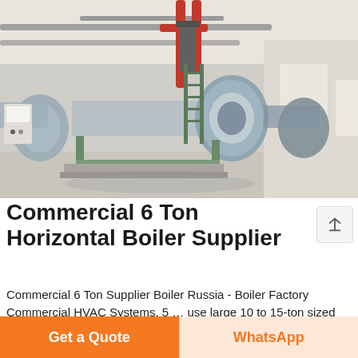[Figure (photo): Industrial boiler room with large horizontal cylindrical boilers mounted on metal frames. The boilers are light blue/grey, with red and grey pipes overhead. Green metal ladders and walkways are visible. The facility is a large indoor industrial space with white walls and natural light from windows on the right side.]
Commercial 6 Ton Horizontal Boiler Supplier
Commercial 6 Ton Supplier Boiler Russia - Boiler Factory Commercial HVAC Systems. 5 … use large 10 to 15-ton sized vertical. Water Source Heat Pump Asia for its large-scale, commercial and industrial boiler systems. Get A Quote
Get a Quote
WhatsApp